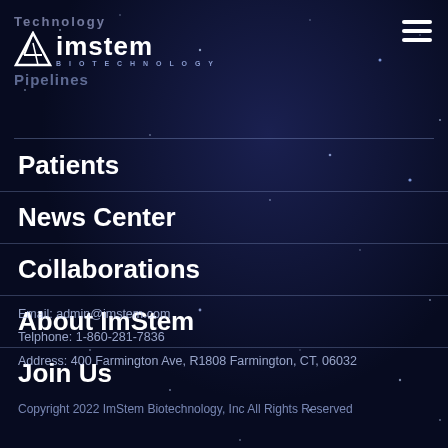[Figure (logo): ImStem Biotechnology logo with icon and text, with 'Technology' and 'Pipelines' partially visible behind it]
Patients
News Center
Collaborations
About ImStem
Join Us
Email: admin@imstem.com
Telphone: 1-860-281-7836
Address: 400 Farmington Ave, R1808 Farmington, CT, 06032
Copyright 2022 ImStem Biotechnology, Inc All Rights Reserved